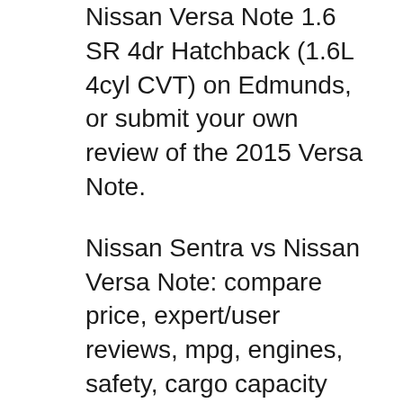Nissan Versa Note 1.6 SR 4dr Hatchback (1.6L 4cyl CVT) on Edmunds, or submit your own review of the 2015 Versa Note.
Nissan Sentra vs Nissan Versa Note: compare price, expert/user reviews, mpg, engines, safety, cargo capacity and other specs. Compare against other cars. Save $3,425 on a 2015 Nissan Versa Note SR near you. Search over 2,100 listings to find the best local deals. We analyze millions of used cars daily.
Shop 2015 Nissan Versa Note vehicles for sale at Cars.com. Research, compare and save listings, or contact sellers